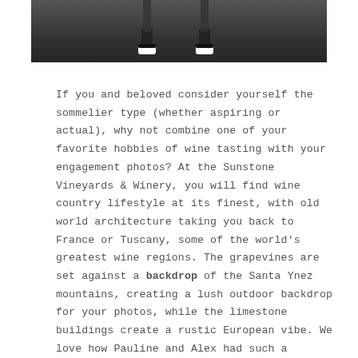[Figure (photo): Top portion of a photo showing two people's legs/feet jumping or walking on stone steps, wearing dark shoes with white soles, dark background.]
If you and beloved consider yourself the sommelier type (whether aspiring or actual), why not combine one of your favorite hobbies of wine tasting with your engagement photos? At the Sunstone Vineyards & Winery, you will find wine country lifestyle at its finest, with old world architecture taking you back to France or Tuscany, some of the world's greatest wine regions. The grapevines are set against a backdrop of the Santa Ynez mountains, creating a lush outdoor backdrop for your photos, while the limestone buildings create a rustic European vibe. We love how Pauline and Alex had such a playful time for their engagement session at Sunstone Vineyards & Winery.